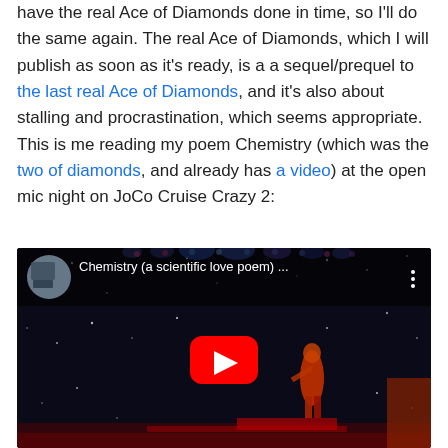have the real Ace of Diamonds done in time, so I'll do the same again. The real Ace of Diamonds, which I will publish as soon as it's ready, is a a sequel/prequel to the last real Ace of Diamonds, and it's also about stalling and procrastination, which seems appropriate. This is me reading my poem Chemistry (which was the two of diamonds, and already has a video) at the open mic night on JoCo Cruise Crazy 2:
[Figure (screenshot): YouTube video embed showing 'Chemistry (a scientific love poem)...' - a performer on a dark stage with starry backdrop, red YouTube play button in center]